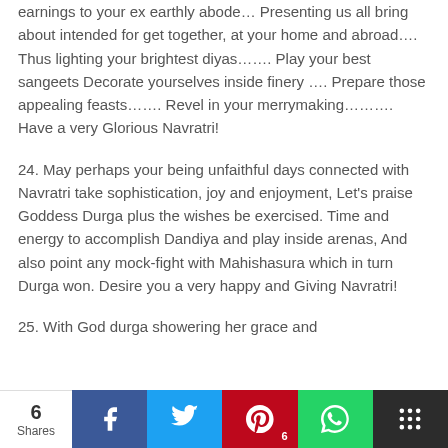earnings to your ex earthly abode… Presenting us all bring about intended for get together, at your home and abroad…. Thus lighting your brightest diyas……. Play your best sangeets Decorate yourselves inside finery …. Prepare those appealing feasts……. Revel in your merrymaking………. Have a very Glorious Navratri!
24. May perhaps your being unfaithful days connected with Navratri take sophistication, joy and enjoyment, Let's praise Goddess Durga plus the wishes be exercised. Time and energy to accomplish Dandiya and play inside arenas, And also point any mock-fight with Mahishasura which in turn Durga won. Desire you a very happy and Giving Navratri!
25. With God durga showering her grace and